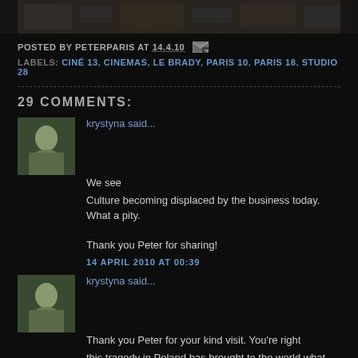[Figure (photo): Aerial or map-like dark image at top of page]
POSTED BY PETERPARIS AT 14.4.10
LABELS: CINÉ 13, CINEMAS, LE BRADY, PARIS 10, PARIS 18, STUDIO 28
29 COMMENTS:
krystyna said...
We see
Culture becoming displaced by the business today. What a pity.

Thank you Peter for sharing!
14 APRIL 2010 AT 00:39
krystyna said...
Thank you Peter for your kind visit. You're right
this tragedy in Poland has brought to the world what happened in Ka
Take care!